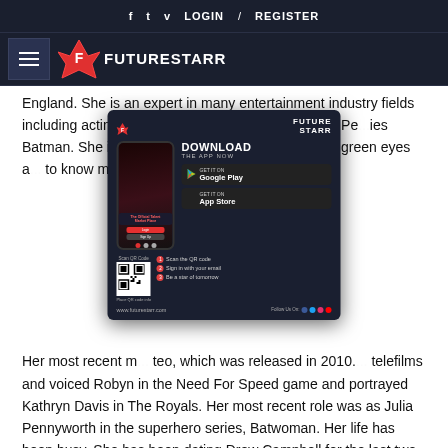f  t  v  LOGIN  /  REGISTER
[Figure (logo): Future Starr logo with hamburger menu on dark navy background]
England. She is an expert in many entertainment industry fields including acting, w... Her most popular role is as Julia Pe... ies Batman. She is also a model. H... 6-24-34. She has green eyes a... to know more about her, read th...
[Figure (screenshot): Future Starr app download advertisement popup showing phone mockup, DOWNLOAD THE APP NOW text, Google Play and App Store buttons, QR code, and steps to follow]
Her most recent m... teo, which was released in 2010. ... telefilms and voiced Robyn in the Need For Speed game and portrayed Kathryn Davis in The Royals. Her most recent role was as Julia Pennyworth in the superhero series, Batwoman. Her life has been busy. She has been dating Drew Campbell for the last two years and they announced their engagement in a Facebook post on her birthday.